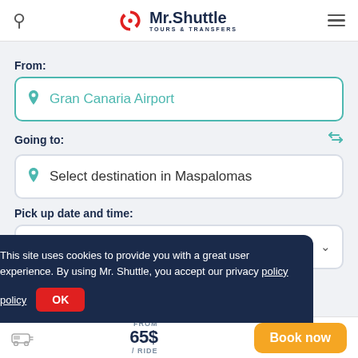[Figure (logo): Mr.Shuttle Tours & Transfers logo with red circular arrow icon and dark navy text]
From:
Gran Canaria Airport
Going to:
Select destination in Maspalomas
Pick up date and time:
Select date
Add return transfer?
This site uses cookies to provide you with a great user experience. By using Mr. Shuttle, you accept our privacy policy
OK
FROM 65$ / RIDE
Book now